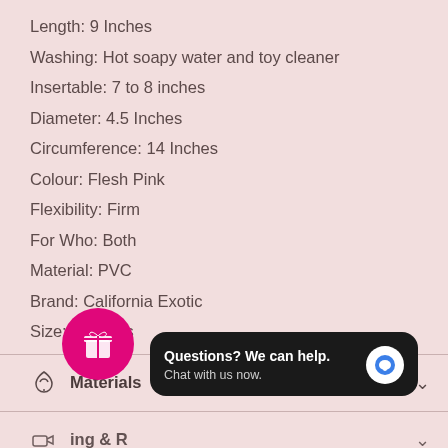Length: 9 Inches
Washing: Hot soapy water and toy cleaner
Insertable: 7 to 8 inches
Diameter: 4.5 Inches
Circumference: 14 Inches
Colour: Flesh Pink
Flexibility: Firm
For Who: Both
Material: PVC
Brand: California Exotic
Size: 9 Inches
Materials
ing & R
Questions? We can help. Chat with us now.